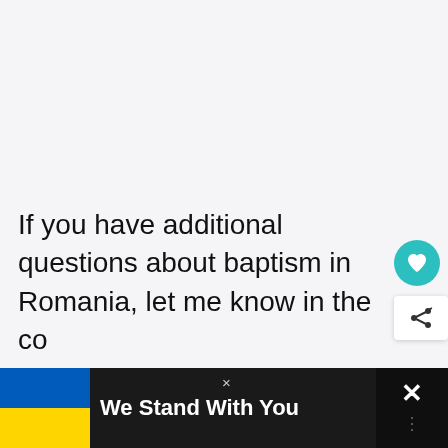If you have additional questions about baptism in Romania, let me know in the co
[Figure (infographic): Bottom banner with Ukrainian flag (blue and yellow) and text 'We Stand With You' on dark background, with a close (×) button]